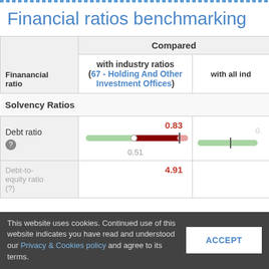Financial ratios benchmarking
| Finanancial ratio | Compared with industry ratios (67 - Holding And Other Investment Offices) | with all ind... |
| --- | --- | --- |
| Solvency Ratios |  |  |
| Debt ratio (?) | 0.83 [bar indicator] 0.51 | 0. [bar indicator] |
| Debt-to-equity ratio (?) | 4.91 ... |  |
This website uses cookies. Continued use of this website indicates you have read and understood our Privacy & Cookies policy and agree to its terms.